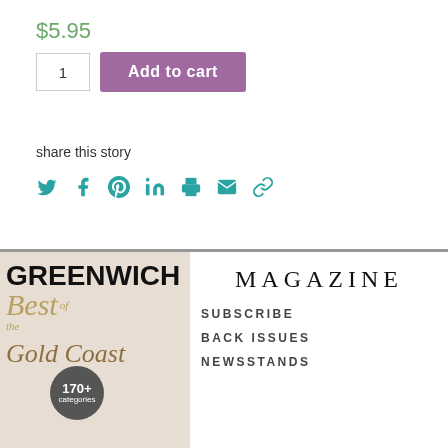$5.95
1  Add to cart
share this story
[Figure (infographic): Social share icons: Twitter, Facebook, Pinterest, LinkedIn, Print, Email, Link]
MAGAZINE
[Figure (photo): Greenwich Magazine cover showing Best of the Gold Coast with 170+ categories badge, eclairs and berry tart]
SUBSCRIBE
BACK ISSUES
NEWSSTANDS